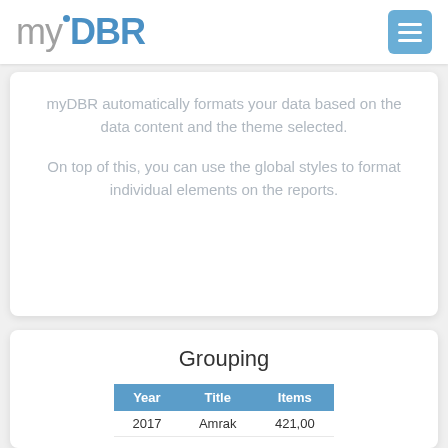myDBR
myDBR automatically formats your data based on the data content and the theme selected.

On top of this, you can use the global styles to format individual elements on the reports.
Grouping
| Year | Title | Items |
| --- | --- | --- |
| 2017 | Amrak | 421,00 |